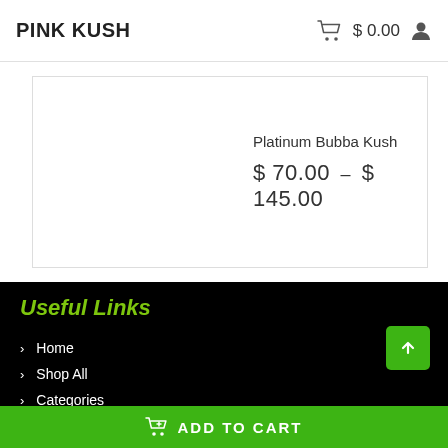PINK KUSH  $0.00
Platinum Bubba Kush
$70.00 – $145.00
Useful Links
> Home
> Shop All
> Categories
ADD TO CART